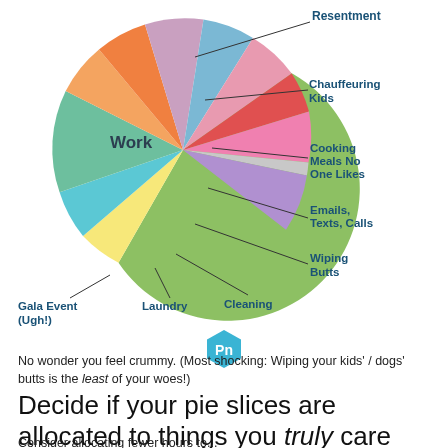[Figure (pie-chart): How a parent/working adult spends their time]
No wonder you feel crummy. (Most shocking: Wiping your kids' / dogs' butts is the least of your woes!)
Decide if your pie slices are allocated to things you truly care about.
Consider allocating fewer hours to...